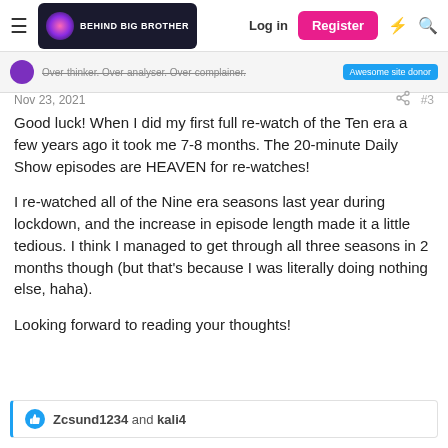[Figure (screenshot): Website header for 'Behind Big Brother' with hamburger menu, logo, Log in, Register (pink button), lightning bolt and search icons]
Over-thinker. Over-analyser. Over-complainer. Awesome site donor
Nov 23, 2021  #3
Good luck! When I did my first full re-watch of the Ten era a few years ago it took me 7-8 months. The 20-minute Daily Show episodes are HEAVEN for re-watches!

I re-watched all of the Nine era seasons last year during lockdown, and the increase in episode length made it a little tedious. I think I managed to get through all three seasons in 2 months though (but that's because I was literally doing nothing else, haha).

Looking forward to reading your thoughts!
Zcsund1234 and kali4